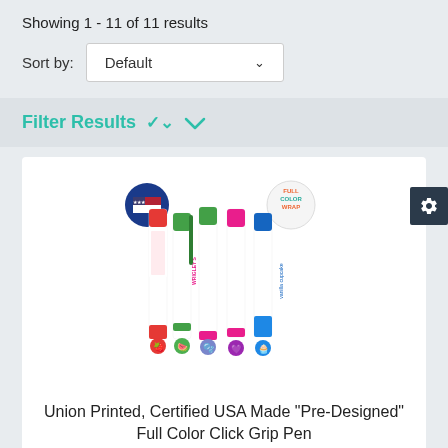Showing 1 - 11 of 11 results
Sort by: Default
Filter Results
[Figure (photo): Five colorful branded click grip pens with full-color wrap printing showing strawberry, watermelon, bubblegum, Wrigley's, and vanilla cupcake designs, along with USA-made and Full Color Wrap badges]
Union Printed, Certified USA Made "Pre-Designed" Full Color Click Grip Pen